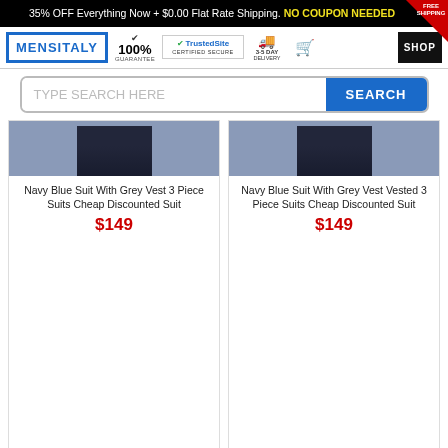35% OFF Everything Now + $0.00 Flat Rate Shipping. NO COUPON NEEDED
[Figure (logo): MENSITALY logo with 100% guarantee, TrustedSite Certified Secure, 3-5 Day Delivery, cart icon, and SHOP button]
TYPE SEARCH HERE  SEARCH
[Figure (photo): Partial photo of Navy Blue Suit With Grey Vest 3 Piece Suits Cheap Discounted Suit]
Navy Blue Suit With Grey Vest 3 Piece Suits Cheap Discounted Suit
$149
[Figure (photo): Partial photo of Navy Blue Suit With Grey Vest Vested 3 Piece Suits Cheap Discounted Suit]
Navy Blue Suit With Grey Vest Vested 3 Piece Suits Cheap Discounted Suit
$149
BUY NOW
BUY NOW